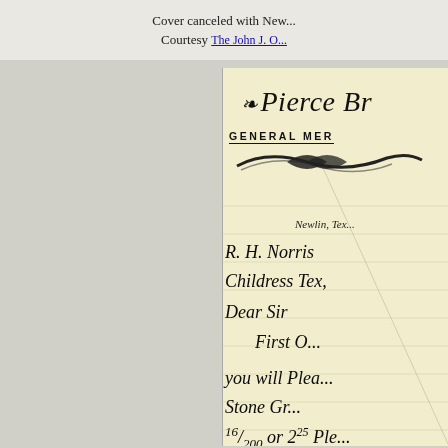Cover canceled with New... Courtesy The John J. O...
[Figure (photo): Partial view of a historical letterhead document from Pierce Br[others], General Mer[chandise], Newlin, Tex[as]. Handwritten letter addressed to R. H. Norris [?], Childress Tex[as], Dear Sir, [text continues] First O[rder?]... you will Plea[se]... [S]tone [?]... $200 or 2[?] Ple[ase]...]
Pierce Br[others]
GENERAL MER[CHANDISE]
Newlin, Tex[as]
R. H. Norris [?]
Childress Tex[as]
Dear Sir
    First O[rder?]

you will Plea[se]
[S]tone [?]...
$200 or 2[?] Ple[ase]